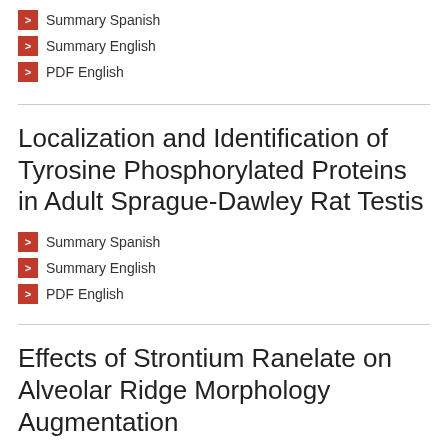> Summary Spanish
> Summary English
> PDF English
Localization and Identification of Tyrosine Phosphorylated Proteins in Adult Sprague-Dawley Rat Testis
> Summary Spanish
> Summary English
> PDF English
Effects of Strontium Ranelate on Alveolar Ridge Morphology Augmentation